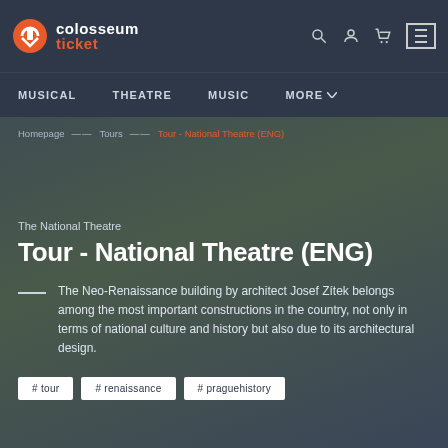[Figure (logo): Colosseum Ticket logo with orange icon and white/orange text]
MUSICAL   THEATRE   MUSIC   MORE
Homepage — Tours — Tour - National Theatre (ENG)
The National Theatre
Tour - National Theatre (ENG)
The Neo-Renaissance building by architect Josef Zítek belongs among the most important constructions in the country, not only in terms of national culture and history but also due to its architectural design.
# tour
# renaissance
# praguehistory